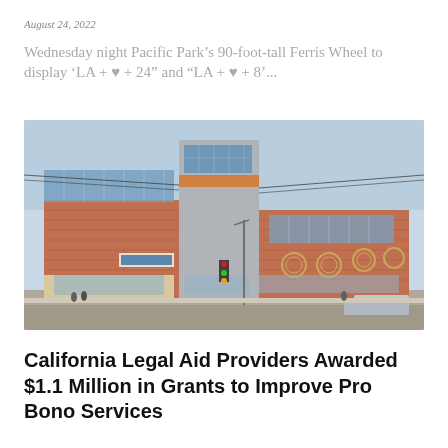August 24, 2022
Wednesday night Pacific Park’s 90-foot-tall Ferris Wheel to display ‘LA + ♥ + 24” and “LA + ♥ + 8’...
[Figure (photo): Exterior photo of a modern multi-story building with brick and glass facade, decorative circular tile elements on the upper floors, street-level storefronts, traffic signals, and power lines in the foreground.]
California Legal Aid Providers Awarded $1.1 Million in Grants to Improve Pro Bono Services